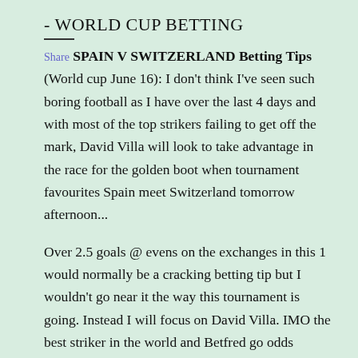- WORLD CUP BETTING
Share SPAIN V SWITZERLAND Betting Tips (World cup June 16): I don't think I've seen such boring football as I have over the last 4 days and with most of the top strikers failing to get off the mark, David Villa will look to take advantage in the race for the golden boot when tournament favourites Spain meet Switzerland tomorrow afternoon...
Over 2.5 goals @ evens on the exchanges in this 1 would normally be a cracking betting tip but I wouldn't go near it the way this tournament is going. Instead I will focus on David Villa. IMO the best striker in the world and Betfred go odds against on a score win double and that looks the